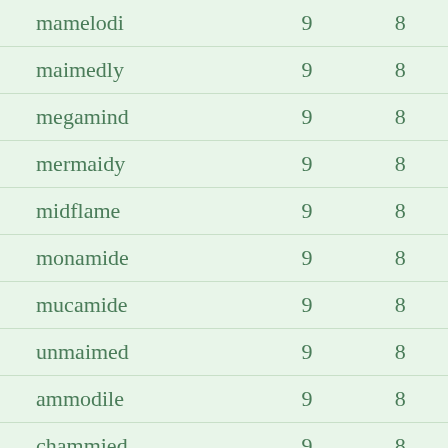| mamelodi | 9 | 8 |
| maimedly | 9 | 8 |
| megamind | 9 | 8 |
| mermaidy | 9 | 8 |
| midflame | 9 | 8 |
| monamide | 9 | 8 |
| mucamide | 9 | 8 |
| unmaimed | 9 | 8 |
| ammodile | 9 | 8 |
| chammied | 9 | 8 |